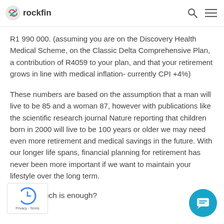rockfin
R1 990 000. (assuming you are on the Discovery Health Medical Scheme, on the Classic Delta Comprehensive Plan, a contribution of R4059 to your plan, and that your retirement grows in line with medical inflation- currently CPI +4%)
These numbers are based on the assumption that a man will live to be 85 and a woman 87, however with publications like the scientific research journal Nature reporting that children born in 2000 will live to be 100 years or older we may need even more retirement and medical savings in the future. With our longer life spans, financial planning for retirement has never been more important if we want to maintain your lifestyle over the long term.
So how much is enough?